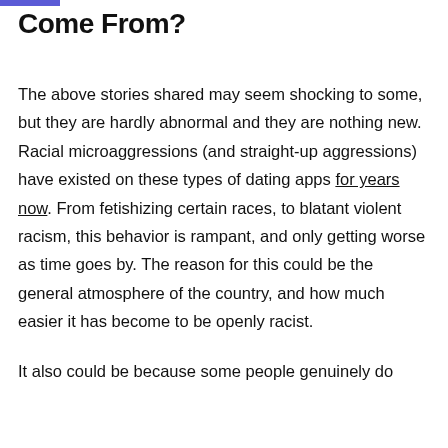Come From?
The above stories shared may seem shocking to some, but they are hardly abnormal and they are nothing new. Racial microaggressions (and straight-up aggressions) have existed on these types of dating apps for years now. From fetishizing certain races, to blatant violent racism, this behavior is rampant, and only getting worse as time goes by. The reason for this could be the general atmosphere of the country, and how much easier it has become to be openly racist.
It also could be because some people genuinely do